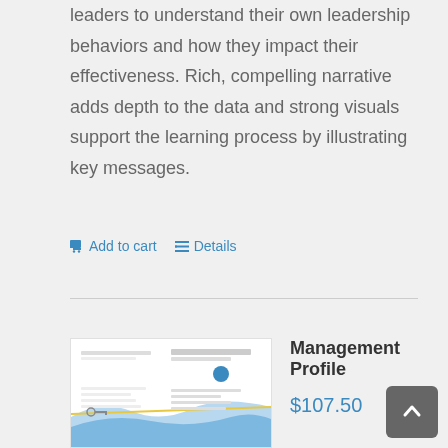leaders to understand their own leadership behaviors and how they impact their effectiveness. Rich, compelling narrative adds depth to the data and strong visuals support the learning process by illustrating key messages.
Add to cart   Details
[Figure (illustration): Product thumbnail image for Management Profile report showing a white cover with blue wave design, text and small graphics]
Management Profile
$107.50